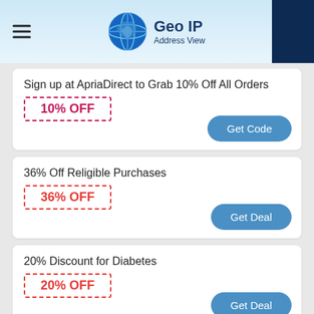Geo IP Address View
Sign up at ApriaDirect to Grab 10% Off All Orders
10% OFF
36% Off Religible Purchases
36% OFF
20% Discount for Diabetes
20% OFF